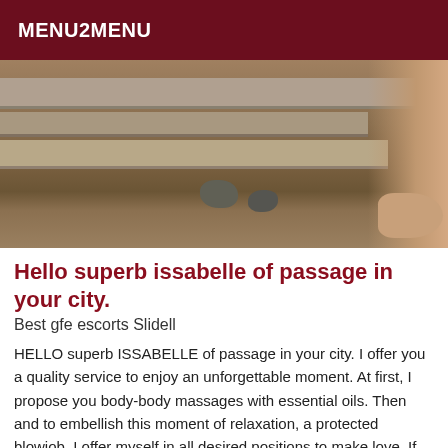MENU2MENU
[Figure (photo): Outdoor photo showing stone steps/ground with two dark rocks and a person's bare foot/leg visible on the right side against a black vertical element]
Hello superb issabelle of passage in your city.
Best gfe escorts Slidell
HELLO superb ISSABELLE of passage in your city. I offer you a quality service to enjoy an unforgettable moment. At first, I propose you body-body massages with essential oils. Then and to embellish this moment of relaxation, a protected blowjob. I offer myself in all desired positions to make love. If you like domination, I suggest you: Fisting, Anilingus (recipient), Masturbation